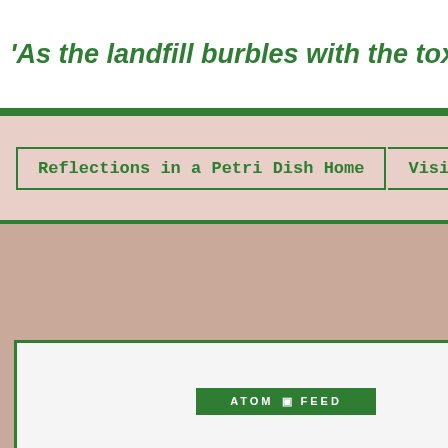'As the landfill burbles with the toxic w
Reflections in a Petri Dish Home
Visible's
[Figure (other): ATOM FEED button — green bordered button with white text on green background]
SUPPORT VISIBLE
[Figure (other): Donate Bitcoin button with orange heart containing Bitcoin logo, flanked by DONATE and BITCOIN text. Below is a QR code and a Bitcoin gold coin image.]
Dog Poet Transmitting
May your noses alway
There are risks and t
there is Michael Isikof
[Figure (other): Scroll to Top button — green bordered button with green text]